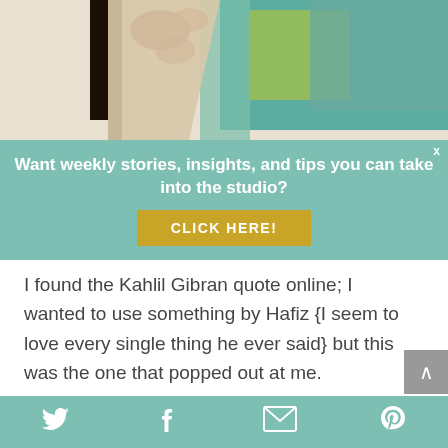[Figure (photo): Abstract painting with teal, green, white, and red-brown colors, partially overlaid by a teal newsletter signup banner]
Want weekly stories, insights, and tips you can take into the studio?
CLICK HERE!
I found the Kahlil Gibran quote online; I wanted to use something by Hafiz {I seem to love every single thing he ever said} but this was the one that popped out at me.
This website uses cookies to improve your experience. By continuing to use this site, you agree to our use of
[Figure (infographic): Social sharing footer bar with Twitter bird, Facebook f, email envelope, and Pinterest P icons on teal background]